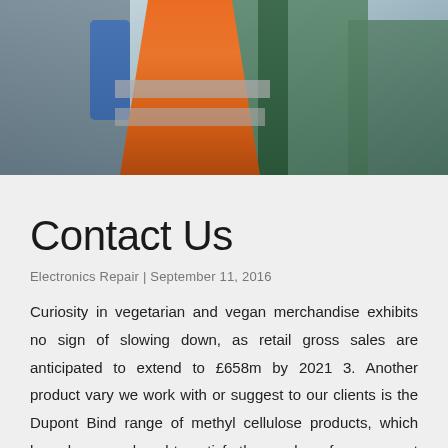[Figure (photo): Industrial photo showing a worker in an orange high-visibility vest with reflective stripes, viewed from behind, standing in front of green industrial machinery in a factory setting.]
Contact Us
Electronics Repair | September 11, 2016
Curiosity in vegetarian and vegan merchandise exhibits no sign of slowing down, as retail gross sales are anticipated to extend to £658m by 2021 3. Another product vary we work with or suggest to our clients is the Dupont Bind range of methyl cellulose products, which have been produced to satisfy the number of vegan meat analogue products being